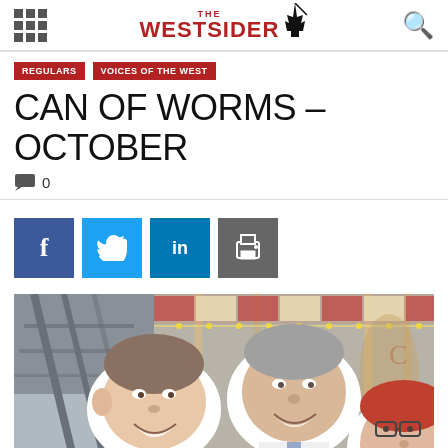THE WESTSIDER
REGULARS
VOICES OF THE WEST
CAN OF WORMS – OCTOBER
0 comments
[Figure (other): Social share buttons: Facebook, Twitter, LinkedIn, Print]
[Figure (photo): Photo of three politicians with cutout faces pasted onto carousel/merry-go-round background including Tony Abbott, Malcolm Turnbull, and Julia Gillard]